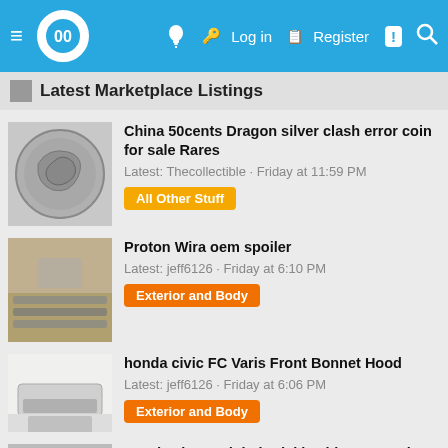[Figure (screenshot): Mobile app navigation bar with hamburger menu, circular logo with '00', lightbulb icon, key icon, Log in link, register icon, Register link, notification badge, and search icon]
Latest Marketplace Listings
China 50cents Dragon silver clash error coin for sale Rares
Latest: Thecollectible · Friday at 11:59 PM
All Other Stuff
Proton Wira oem spoiler
Latest: jeff6126 · Friday at 6:10 PM
Exterior and Body
honda civic FC Varis Front Bonnet Hood
Latest: jeff6126 · Friday at 6:06 PM
Exterior and Body
Honda city modulo bodykit with spray color